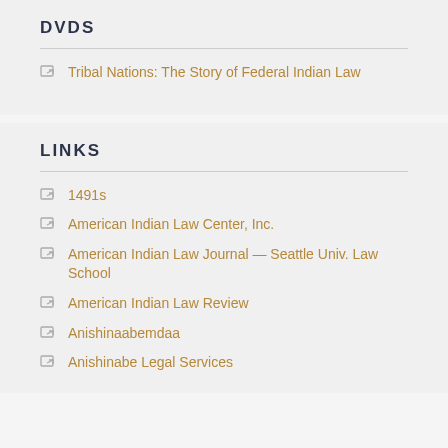DVDS
Tribal Nations: The Story of Federal Indian Law
LINKS
1491s
American Indian Law Center, Inc.
American Indian Law Journal — Seattle Univ. Law School
American Indian Law Review
Anishinaabemdaa
Anishinabe Legal Services